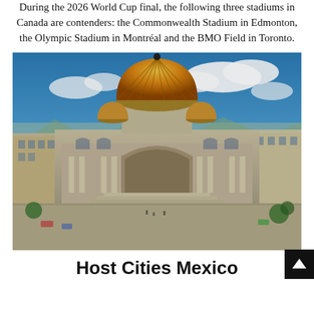During the 2026 World Cup final, the following three stadiums in Canada are contenders: the Commonwealth Stadium in Edmonton, the Olympic Stadium in Montréal and the BMO Field in Toronto.
[Figure (photo): Aerial view of a grand historic building with a large ornate copper and gold dome, surrounded by a city plaza with streets and vegetation, under a blue sky with clouds. Likely the Palacio de Bellas Artes in Mexico City.]
Host Cities Mexico